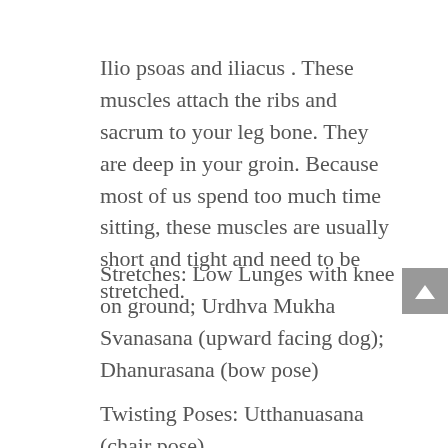Ilio psoas and iliacus . These muscles attach the ribs and sacrum to your leg bone. They are deep in your groin. Because most of us spend too much time sitting, these muscles are usually short and tight and need to be stretched.
Stretches: Low Lunges with knee on ground; Urdhva Mukha Svanasana (upward facing dog); Dhanurasana (bow pose)
Twisting Poses: Utthanuasana (chair pose)